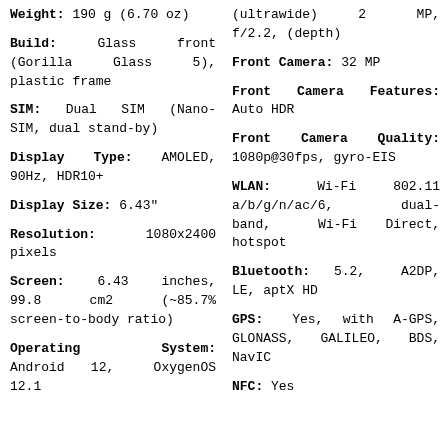(ultrawide) 2 MP, f/2.2, (depth)
Weight: 190 g (6.70 oz)
Front Camera: 32 MP
Build: Glass front (Gorilla Glass 5), plastic frame
Front Camera Features: Auto HDR
SIM: Dual SIM (Nano-SIM, dual stand-by)
Front Camera Quality: 1080p@30fps, gyro-EIS
Display Type: AMOLED, 90Hz, HDR10+
WLAN: Wi-Fi 802.11 a/b/g/n/ac/6, dual-band, Wi-Fi Direct, hotspot
Display Size: 6.43"
Bluetooth: 5.2, A2DP, LE, aptX HD
Resolution: 1080x2400 pixels
GPS: Yes, with A-GPS, GLONASS, GALILEO, BDS, NavIC
Screen: 6.43 inches, 99.8 cm2 (~85.7% screen-to-body ratio)
NFC: Yes
Operating System: Android 12, OxygenOS 12.1